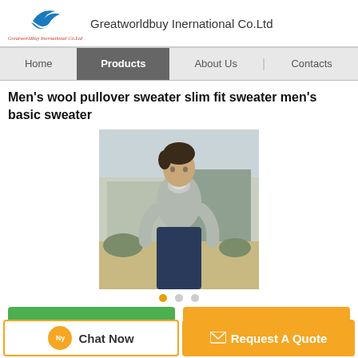[Figure (logo): Greatworldbuy International Co.Ltd logo with a stylized blue swoosh/checkmark icon and red italic company name below]
Greatworldbuy Inernational Co.Ltd
Home | Products | About Us | Contacts
Men's wool pullover sweater slim fit sweater men's basic sweater
[Figure (photo): Photo of a man wearing a light grey slim fit pullover sweater, standing outdoors near a building]
• • •
Chat Now   Request A Quote